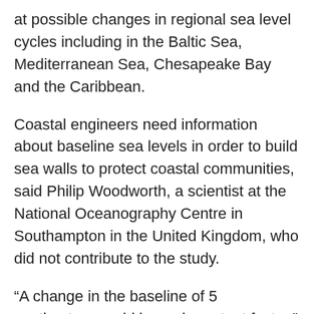at possible changes in regional sea level cycles including in the Baltic Sea, Mediterranean Sea, Chesapeake Bay and the Caribbean.
Coastal engineers need information about baseline sea levels in order to build sea walls to protect coastal communities, said Philip Woodworth, a scientist at the National Oceanography Centre in Southampton in the United Kingdom, who did not contribute to the study.
“A change in the baseline of 5 centimeters could be an important factor,” he said.
Wahl said the changes he and his co-authors saw in the seasonal cycle in the eastern Gulf are driven by changes in air temperature and atmospheric sea level pressure over the past two decades. The researchers found that since 1990, summers have been getting warmer and winters have been getting colder in the region. At a given air temperature change...